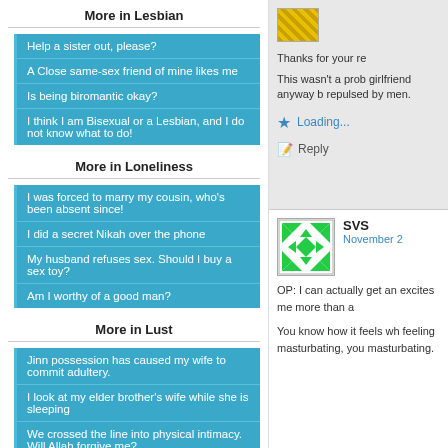More in Lesbian
Help a sister out, please?
A Close same-sex friend of mine likes me
Is being biromantic okay?
I think I am Bisexual or a Lesbian, and I do not know what to do!
More in Loneliness
I was forced to marry my cousin, who's been absent since!
I did a secret Nikah over the phone
My husband refuses sex. Should I buy a sex toy?
Am I worthy of a good man?
More in Lust
Jinn possession has caused my wife to commit adultery.
I look at my elder brother's wife while she is sleeping
We crossed the line into physical intimacy. Will Allah forgive me?
I had sexual relations with a cousin without her consent. Is Allah disappointed in me?
Thanks for your re
This wasn't a prob girlfriend anyway b repulsed by men.
Loading...
Reply
SVS
November 2
OP: I can actually get an excites me more than a
You know how it feels wh feeling masturbating, yo masturbating.